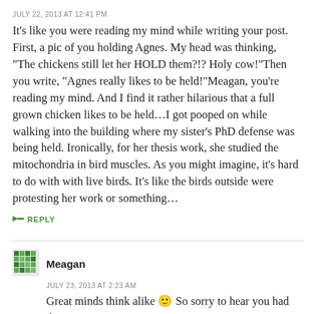JULY 22, 2013 AT 12:41 PM
It's like you were reading my mind while writing your post. First, a pic of you holding Agnes. My head was thinking, “The chickens still let her HOLD them?!? Holy cow!”Then you write, “Agnes really likes to be held!”Meagan, you’re reading my mind. And I find it rather hilarious that a full grown chicken likes to be held…I got pooped on while walking into the building where my sister’s PhD defense was being held. Ironically, for her thesis work, she studied the mitochondria in bird muscles. As you might imagine, it’s hard to do with with live birds. It’s like the birds outside were protesting her work or something…
→ REPLY
Meagan
JULY 23, 2013 AT 2:23 AM
Great minds think alike 🙂 So sorry to hear you had the